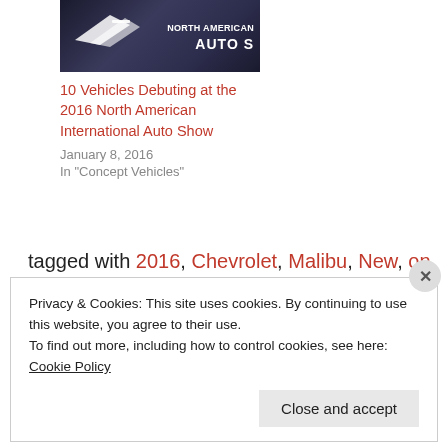[Figure (photo): North American Auto Show logo/banner image with dark background]
10 Vehicles Debuting at the 2016 North American International Auto Show
January 8, 2016
In "Concept Vehicles"
tagged with 2016, Chevrolet, Malibu, New, on sale, price
Advertising & Marketing
Privacy & Cookies: This site uses cookies. By continuing to use this website, you agree to their use.
To find out more, including how to control cookies, see here: Cookie Policy
Close and accept